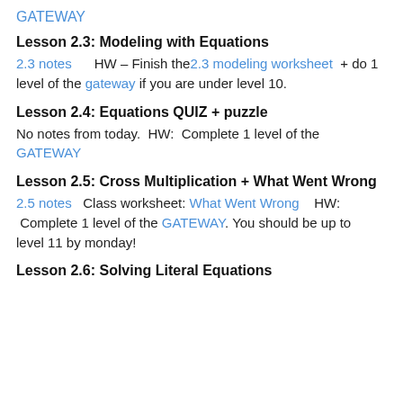GATEWAY
Lesson 2.3: Modeling with Equations
2.3 notes      HW – Finish the 2.3 modeling worksheet  + do 1 level of the gateway if you are under level 10.
Lesson 2.4: Equations QUIZ + puzzle
No notes from today.  HW:  Complete 1 level of the GATEWAY
Lesson 2.5: Cross Multiplication + What Went Wrong
2.5 notes   Class worksheet: What Went Wrong    HW:  Complete 1 level of the GATEWAY. You should be up to level 11 by monday!
Lesson 2.6: Solving Literal Equations